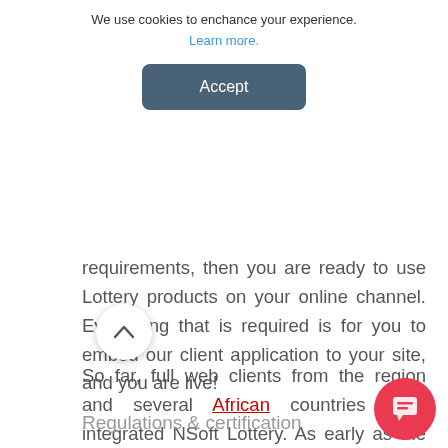We use cookies to enchance your experience. Learn more.
Accept
requirements, then you are ready to use Lottery products on your online channel. Everything that is required is for you to embed our client application to your site, and you are live!
So far, full web clients from the region and several African countries have integrated NSoft Lottery. As early as the second quarter of this year, Lottery will also be available for web client integration.
Regulations & certification